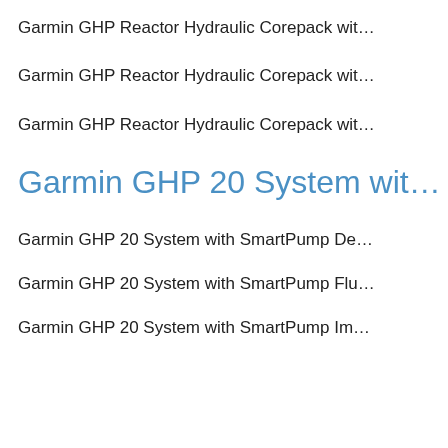Garmin GHP Reactor Hydraulic Corepack wit…
Garmin GHP Reactor Hydraulic Corepack wit…
Garmin GHP Reactor Hydraulic Corepack wit…
Garmin GHP 20 System wit…
Garmin GHP 20 System with SmartPump De…
Garmin GHP 20 System with SmartPump Flu…
Garmin GHP 20 System with SmartPump Im…